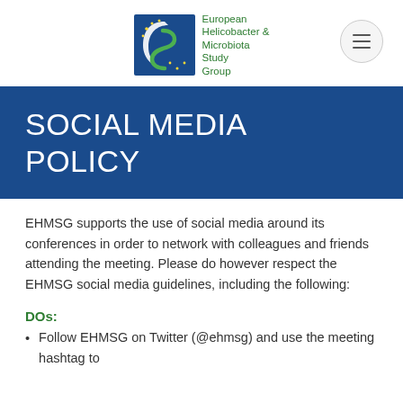[Figure (logo): European Helicobacter & Microbiota Study Group logo with blue crescent moon with stars and green S-shaped symbol, alongside green text name]
SOCIAL MEDIA POLICY
EHMSG supports the use of social media around its conferences in order to network with colleagues and friends attending the meeting. Please do however respect the EHMSG social media guidelines, including the following:
DOs:
Follow EHMSG on Twitter (@ehmsg) and use the meeting hashtag to